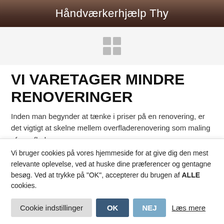Håndværkerhjælp Thy
[Figure (other): Grid icon (2x2 squares) used as a decorative section marker]
VI VARETAGER MINDRE RENOVERINGER
Inden man begynder at tænke i priser på en renovering, er det vigtigt at skelne mellem overfladerenovering som maling af overflader,
Vi bruger cookies på vores hjemmeside for at give dig den mest relevante oplevelse, ved at huske dine præferencer og gentagne besøg. Ved at trykke på "OK", accepterer du brugen af ALLE cookies.
Cookie indstillinger  OK  NEJ  Læs mere